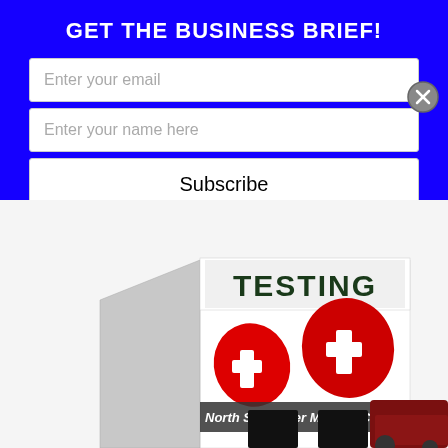GET THE BUSINESS BRIEF!
Enter your email
Enter your name here
Subscribe
[Figure (photo): A white pop-up testing tent with red cross medical symbols and 'TESTING' banner at top, branded 'North Sunflower Medical Cent[er]', with a dark red car partially visible inside and to the right.]